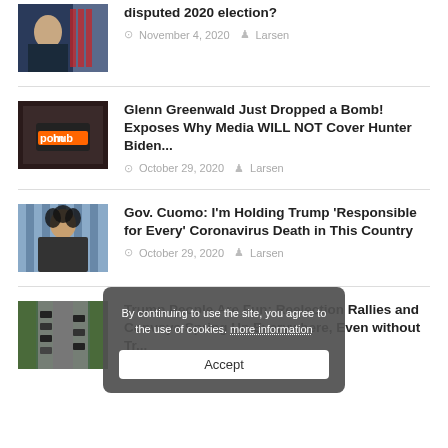[Figure (photo): Thumbnail of person in suit near American flags]
disputed 2020 election?
November 4, 2020  Larsen
[Figure (photo): Thumbnail with Pornhub logo yellow sign]
Glenn Greenwald Just Dropped a Bomb! Exposes Why Media WILL NOT Cover Hunter Biden...
October 29, 2020  Larsen
[Figure (photo): Thumbnail of woman with curly hair in front of curtain]
Gov. Cuomo: I'm Holding Trump 'Responsible for Every' Coronavirus Death in This Country
October 29, 2020  Larsen
[Figure (photo): Aerial view of vehicles/convoy on road]
Trump People Are Fun: Reelection Rallies and Convoys Spring Up Everywhere, Even without Trump
October 29, 2020  Larsen
By continuing to use the site, you agree to the use of cookies. more information
Accept